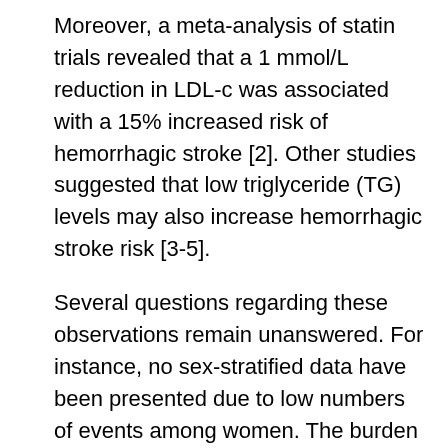Moreover, a meta-analysis of statin trials revealed that a 1 mmol/L reduction in LDL-c was associated with a 15% increased risk of hemorrhagic stroke [2]. Other studies suggested that low triglyceride (TG) levels may also increase hemorrhagic stroke risk [3-5].
Several questions regarding these observations remain unanswered. For instance, no sex-stratified data have been presented due to low numbers of events among women. The burden of stroke is, however, considered to be higher in women than in men [6]. It is therefore important to identify risk factors for stroke in women. Moreover, the association between lipid levels and stroke were not specified by hemorrhagic stroke subtypes. Finally, no distinction was made